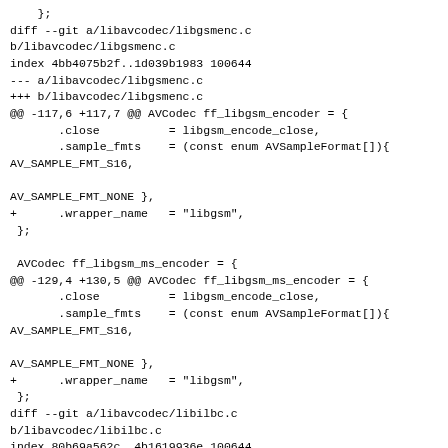};
diff --git a/libavcodec/libgsmenc.c
b/libavcodec/libgsmenc.c
index 4bb4075b2f..1d039b1983 100644
--- a/libavcodec/libgsmenc.c
+++ b/libavcodec/libgsmenc.c
@@ -117,6 +117,7 @@ AVCodec ff_libgsm_encoder = {
        .close          = libgsm_encode_close,
        .sample_fmts    = (const enum AVSampleFormat[]){
AV_SAMPLE_FMT_S16,

AV_SAMPLE_FMT_NONE },
+       .wrapper_name   = "libgsm",
 };

 AVCodec ff_libgsm_ms_encoder = {
@@ -129,4 +130,5 @@ AVCodec ff_libgsm_ms_encoder = {
        .close          = libgsm_encode_close,
        .sample_fmts    = (const enum AVSampleFormat[]){
AV_SAMPLE_FMT_S16,

AV_SAMPLE_FMT_NONE },
+       .wrapper_name   = "libgsm",
 };
diff --git a/libavcodec/libilbc.c
b/libavcodec/libilbc.c
index 80b69a562c..4b1619936e 100644
--- a/libavcodec/libilbc.c
+++ b/libavcodec/libilbc.c
@@ -197,4 +197,5 @@ AVCodec ff_libilbc_encoder = {